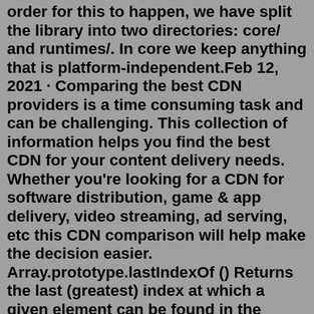order for this to happen, we have split the library into two directories: core/ and runtimes/. In core we keep anything that is platform-independent.Feb 12, 2021 · Comparing the best CDN providers is a time consuming task and can be challenging. This collection of information helps you find the best CDN for your content delivery needs. Whether you're looking for a CDN for software distribution, game & app delivery, video streaming, ad serving, etc this CDN comparison will help make the decision easier. Array.prototype.lastIndexOf () Returns the last (greatest) index at which a given element can be found in the calling array, or -1 if none is found. Array.prototype.map () Returns a new array containing the results of invoking a function on every element in the calling array. Get started for free. Cloud CDN documentation. Cloud CDN (Content Delivery Network) uses Google's globally distributed edge points of presence to cache external HTTP (S) load balanced content close to your users. Caching content at the edges of Google's network provides